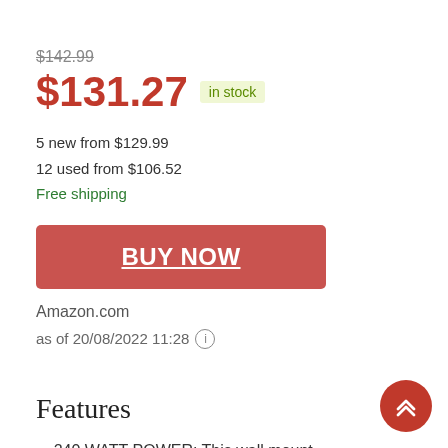$142.99
$131.27  in stock
5 new from $129.99
12 used from $106.52
Free shipping
BUY NOW
Amazon.com
as of 20/08/2022 11:28 ⓘ
Features
240 WATT POWER: This wall mount powered 2 way full range audio projection